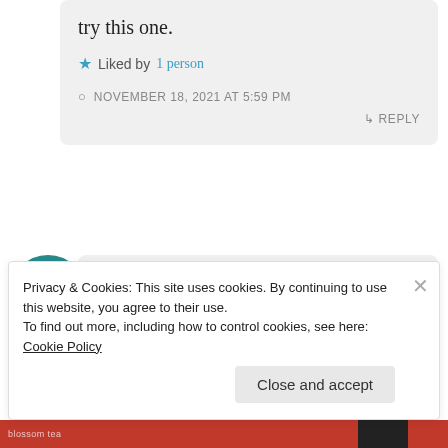try this one.
★ Liked by 1 person
NOVEMBER 18, 2021 AT 5:59 PM
↳ REPLY
Laurel-Rain Snow
Privacy & Cookies: This site uses cookies. By continuing to use this website, you agree to their use. To find out more, including how to control cookies, see here: Cookie Policy
Close and accept